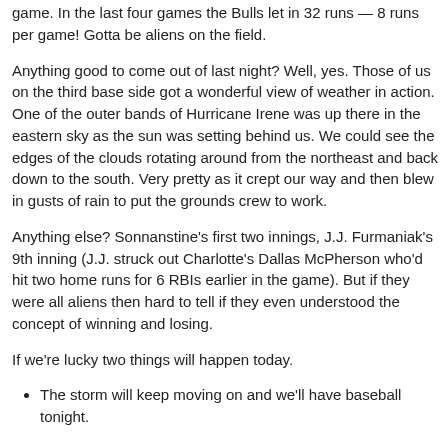game. In the last four games the Bulls let in 32 runs — 8 runs per game! Gotta be aliens on the field.
Anything good to come out of last night? Well, yes. Those of us on the third base side got a wonderful view of weather in action. One of the outer bands of Hurricane Irene was up there in the eastern sky as the sun was setting behind us. We could see the edges of the clouds rotating around from the northeast and back down to the south. Very pretty as it crept our way and then blew in gusts of rain to put the grounds crew to work.
Anything else? Sonnanstine's first two innings, J.J. Furmaniak's 9th inning (J.J. struck out Charlotte's Dallas McPherson who'd hit two home runs for 6 RBIs earlier in the game). But if they were all aliens then hard to tell if they even understood the concept of winning and losing.
If we're lucky two things will happen today.
The storm will keep moving on and we'll have baseball tonight.